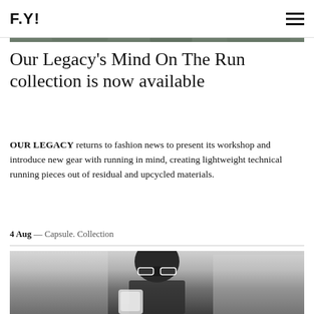F.Y!
[Figure (photo): Top landscape photo showing trees and a body of water, in muted tones]
Our Legacy’s Mind On The Run collection is now available
OUR LEGACY returns to fashion news to present its workshop and introduce new gear with running in mind, creating lightweight technical running pieces out of residual and upcycled materials.
4 Aug — Capsule. Collection
[Figure (photo): Black and white portrait of a young man with sunglasses holding a white cloth, photographed against a building background]